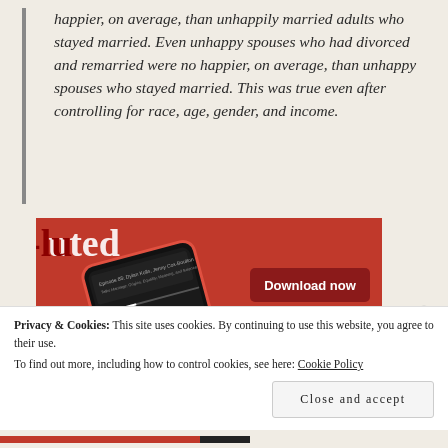happier, on average, than unhappily married adults who stayed married. Even unhappy spouses who had divorced and remarried were no happier, on average, than unhappy spouses who stayed married. This was true even after controlling for race, age, gender, and income.
[Figure (screenshot): Advertisement showing a smartphone with a podcast app on a red background, with a 'Download now' button.]
Privacy & Cookies: This site uses cookies. By continuing to use this website, you agree to their use.
To find out more, including how to control cookies, see here: Cookie Policy
Close and accept